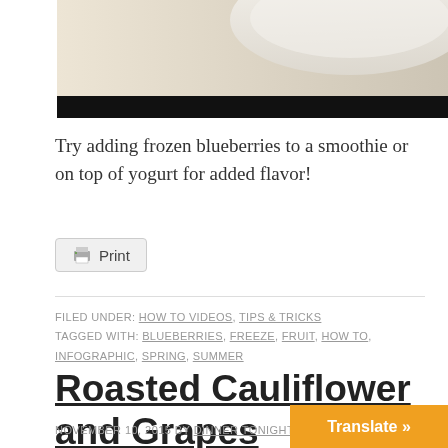[Figure (photo): Partial photo of a white ceramic bowl on a light wood surface, with a dark/black bar at the bottom of the image]
Try adding frozen blueberries to a smoothie or on top of yogurt for added flavor!
[Figure (other): Print button with printer icon]
FILED UNDER: HOW TO VIDEOS, TIPS & TRICKS
TAGGED WITH: BLUEBERRIES, FREEZE, FRUIT, HOW TO, INFOGRAPHIC, SPRING, SUMMER
Roasted Cauliflower and Grapes
NOVEMBER 10, 2015 BY DINNER TONIGHT